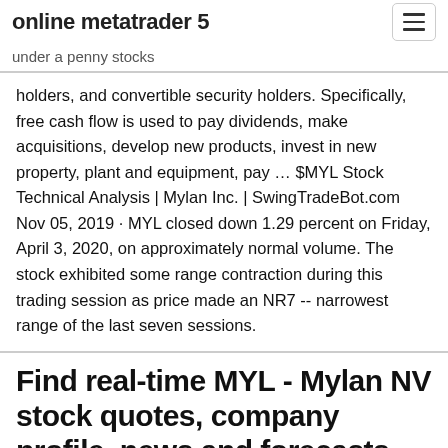online metatrader 5
under a penny stocks
holders, and convertible security holders. Specifically, free cash flow is used to pay dividends, make acquisitions, develop new products, invest in new property, plant and equipment, pay … $MYL Stock Technical Analysis | Mylan Inc. | SwingTradeBot.com Nov 05, 2019 · MYL closed down 1.29 percent on Friday, April 3, 2020, on approximately normal volume. The stock exhibited some range contraction during this trading session as price made an NR7 -- narrowest range of the last seven sessions.
Find real-time MYL - Mylan NV stock quotes, company profile, news and forecasts from CNN Business.